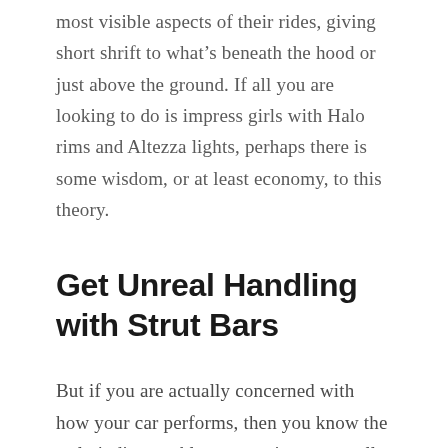most visible aspects of their rides, giving short shrift to what's beneath the hood or just above the ground. If all you are looking to do is impress girls with Halo rims and Altezza lights, perhaps there is some wisdom, or at least economy, to this theory.
Get Unreal Handling with Strut Bars
But if you are actually concerned with how your car performs, then you know the truly indispensable accessories are usually not the flashier items. Invest in a performance muffler